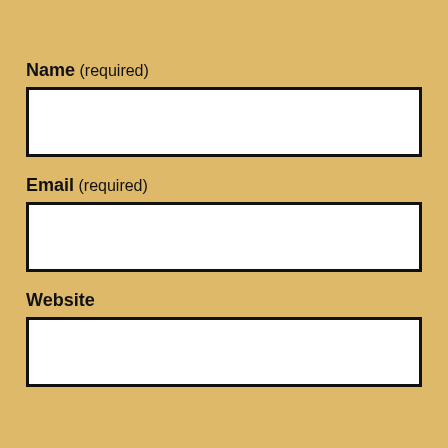Name (required)
[Figure (other): Empty white input field box for Name]
Email (required)
[Figure (other): Empty white input field box for Email]
Website
[Figure (other): Empty white input field box for Website]